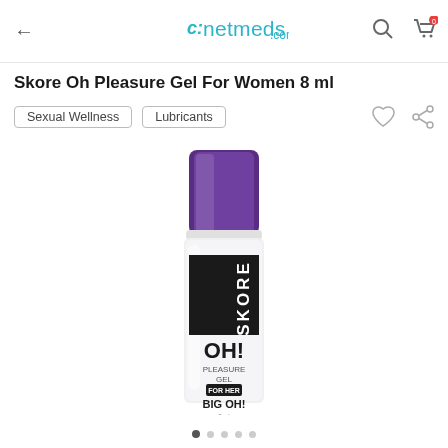netmeds.com
Skore Oh Pleasure Gel For Women 8 ml
Sexual Wellness
Lubricants
[Figure (photo): Skore OH! Pleasure Gel bottle with purple cap and white body, showing SKORE OH! PLEASURE GEL FOR HER BIG OH! branding, 8ml]